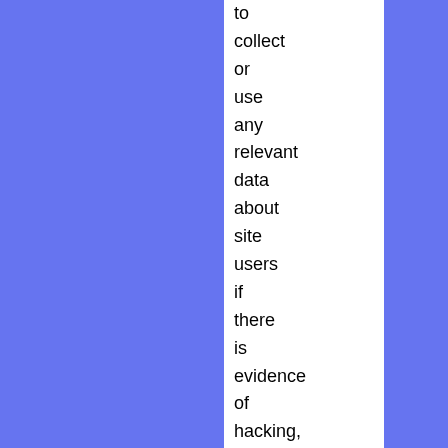to collect or use any relevant data about site users if there is evidence of hacking, harassment or other illegal activity.Â
2.